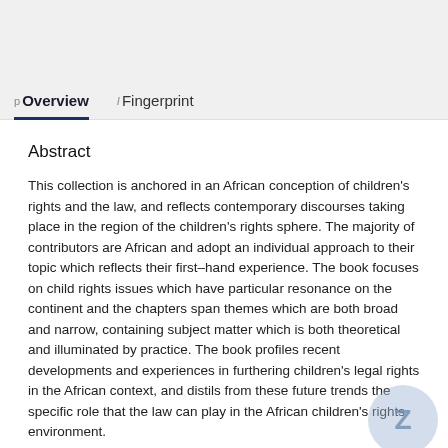p Overview  I Fingerprint
Abstract
This collection is anchored in an African conception of children's rights and the law, and reflects contemporary discourses taking place in the region of the children's rights sphere. The majority of contributors are African and adopt an individual approach to their topic which reflects their first–hand experience. The book focuses on child rights issues which have particular resonance on the continent and the chapters span themes which are both broad and narrow, containing subject matter which is both theoretical and illuminated by practice. The book profiles recent developments and experiences in furthering children's legal rights in the African context, and distils from these future trends the specific role that the law can play in the African children's rights environment.